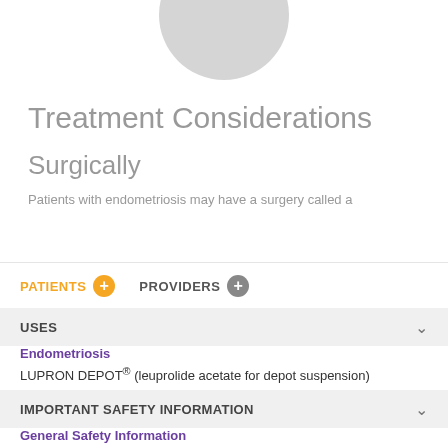[Figure (illustration): Partial gray circle avatar/silhouette at top center of page]
Treatment Considerations
Surgically
Patients with endometriosis may have a surgery called a
PATIENTS   PROVIDERS
USES
Endometriosis
LUPRON DEPOT® (leuprolide acetate for depot suspension)
IMPORTANT SAFETY INFORMATION
General Safety Information
Do not take LUPRON DEPOT 3.75 mg and 11.25 mg if you are or may be pregnant